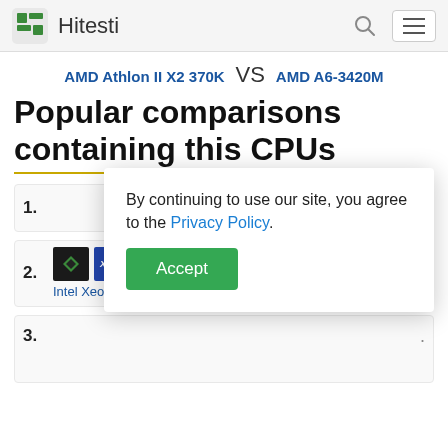Hitesti
AMD Athlon II X2 370K VS AMD A6-3420M
Popular comparisons containing this CPUs
1.
2. AMD Athlon II X2 370K vs. Intel Xeon E3-1240
3.
By continuing to use our site, you agree to the Privacy Policy. Accept